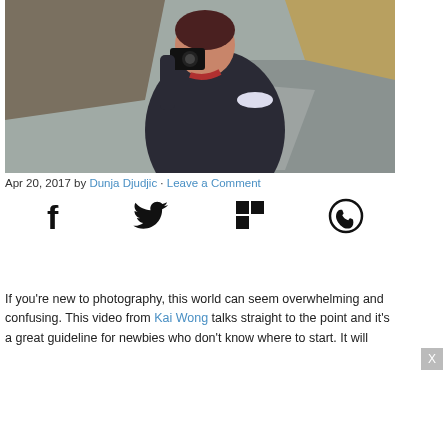[Figure (photo): Woman in dark jacket holding a camera to her eye, photographing outdoors in a rocky/grassy landscape with a road and hills in the background.]
Apr 20, 2017 by Dunja Djudjic · Leave a Comment
[Figure (infographic): Social sharing icons row: Facebook, Twitter, Flipboard, WhatsApp]
If you're new to photography, this world can seem overwhelming and confusing. This video from Kai Wong talks straight to the point and it's a great guideline for newbies who don't know where to start. It will